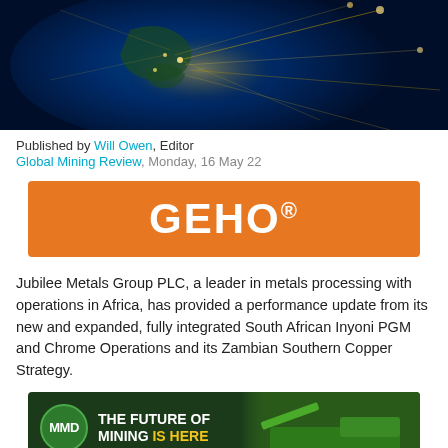[Figure (photo): Aerial satellite-style image of Earth or globe with glowing network connections and light trails over a dark blue background]
Published by Will Owen, Editor
Global Mining Review, Monday, 16 May 22
[Figure (logo): GEHO® logo — white bold text on orange rectangle background]
Jubilee Metals Group PLC, a leader in metals processing with operations in Africa, has provided a performance update from its new and expanded, fully integrated South African Inyoni PGM and Chrome Operations and its Zambian Southern Copper Strategy.
[Figure (logo): MMD banner advertisement: MMD circular logo on dark green background with text 'THE FUTURE OF MINING IS HERE' and mining equipment image on right]
The strategy involves integrating the Sable Copper and Cobalt